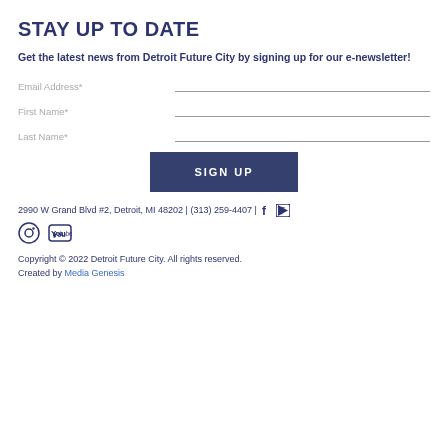STAY UP TO DATE
Get the latest news from Detroit Future City by signing up for our e-newsletter!
Email Address*
First Name*
Last Name*
SIGN UP
2990 W Grand Blvd #2, Detroit, MI 48202 | (313) 259-4407 |
[Figure (infographic): Social media icons: Instagram circle icon, YouTube icon]
Copyright © 2022 Detroit Future City. All rights reserved. Created by Media Genesis